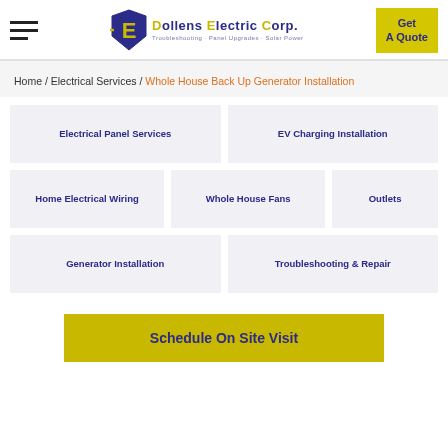Dollens Electric Corp. — Troubleshooting · Panel Upgrades · Solar Power | Get A Quote
Home / Electrical Services / Whole House Back Up Generator Installation
Electrical Panel Services
EV Charging Installation
Home Electrical Wiring
Whole House Fans
Outlets
Generator Installation
Troubleshooting & Repair
Schedule On Site Visit